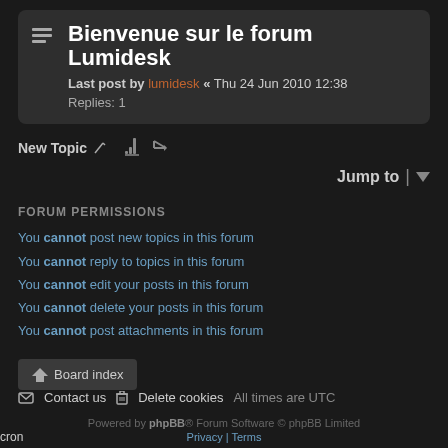Bienvenue sur le forum Lumidesk
Last post by lumidesk • Thu 24 Jun 2010 12:38
Replies: 1
New Topic
Jump to
FORUM PERMISSIONS
You cannot post new topics in this forum
You cannot reply to topics in this forum
You cannot edit your posts in this forum
You cannot delete your posts in this forum
You cannot post attachments in this forum
Board index   Contact us   Delete cookies   All times are UTC
Powered by phpBB® Forum Software © phpBB Limited
Privacy | Terms